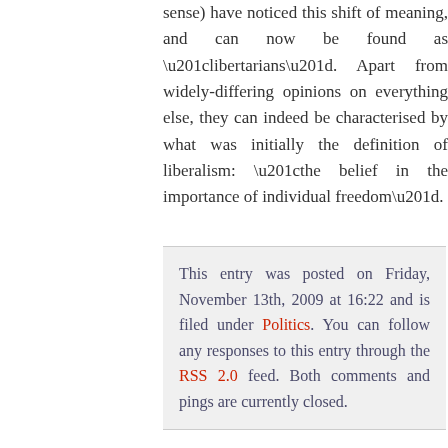sense) have noticed this shift of meaning, and can now be found as “libertarians”. Apart from widely-differing opinions on everything else, they can indeed be characterised by what was initially the definition of liberalism: “the belief in the importance of individual freedom”.
This entry was posted on Friday, November 13th, 2009 at 16:22 and is filed under Politics. You can follow any responses to this entry through the RSS 2.0 feed. Both comments and pings are currently closed.